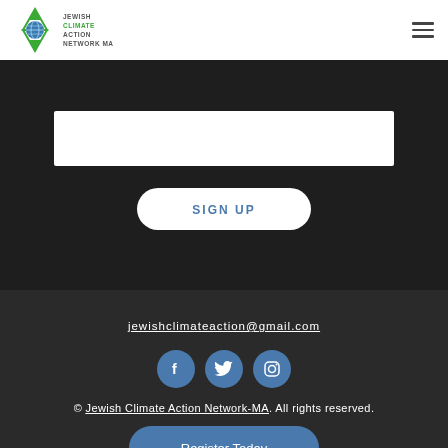[Figure (logo): Jewish Climate Action Network MA logo with Star of David and globe]
[Figure (other): Hamburger menu icon (three horizontal lines)]
[Figure (other): White text input field (email signup form)]
[Figure (other): SIGN UP button with rounded pill shape in white]
jewishclimateaction@gmail.com
[Figure (other): Social media icons: Facebook, Twitter, Instagram — round blue circles]
© Jewish Climate Action Network-MA. All rights reserved.
[Figure (other): Register Today button with rounded shape in blue]